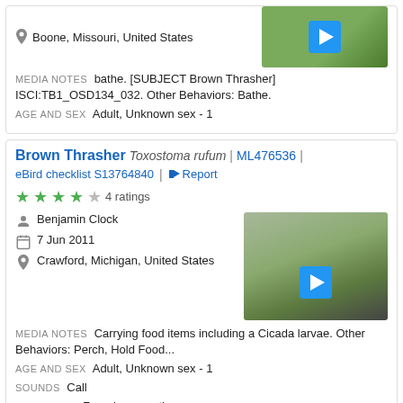Boone, Missouri, United States
MEDIA NOTES  bathe. [SUBJECT Brown Thrasher] ISCI:TB1_OSD134_032. Other Behaviors: Bathe.
AGE AND SEX  Adult, Unknown sex - 1
Brown Thrasher  Toxostoma rufum  |  ML476536  |
eBird checklist S13764840  |  Report
4 ratings
Benjamin Clock
7 Jun 2011
Crawford, Michigan, United States
MEDIA NOTES  Carrying food items including a Cicada larvae. Other Behaviors: Perch, Hold Food...
AGE AND SEX  Adult, Unknown sex - 1
SOUNDS  Call
BEHAVIORS  Foraging or eating
Brown Thrasher  Toxostoma rufum  |  ML466824  |  Report
4 ratings